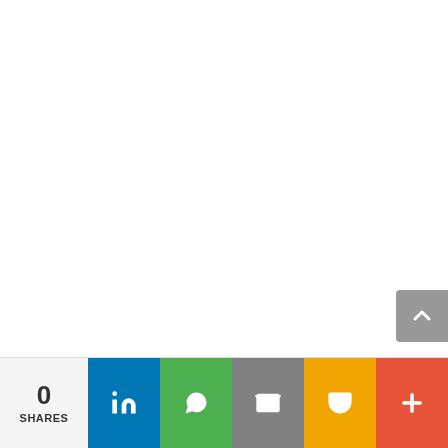[Figure (screenshot): White blank main content area of a webpage]
[Figure (other): Gray scroll-to-top button with upward chevron arrow, positioned at right edge]
0 SHARES | LinkedIn share button | WhatsApp share button | Email share button | Pocket share button | More share button